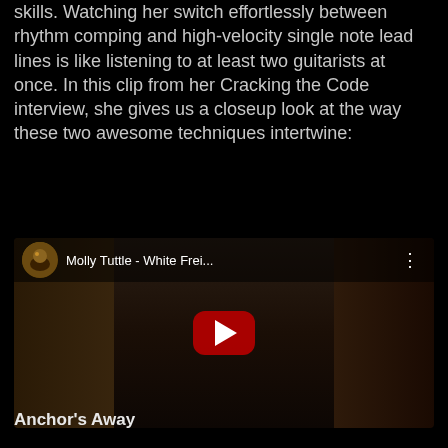skills. Watching her switch effortlessly between rhythm comping and high-velocity single note lead lines is like listening to at least two guitarists at once. In this clip from her Cracking the Code interview, she gives us a closeup look at the way these two awesome techniques intertwine:
[Figure (screenshot): YouTube video embed thumbnail showing Molly Tuttle - White Frei... with a red play button in the center. Shows a woman playing guitar in the middle panel.]
Anchor's Away